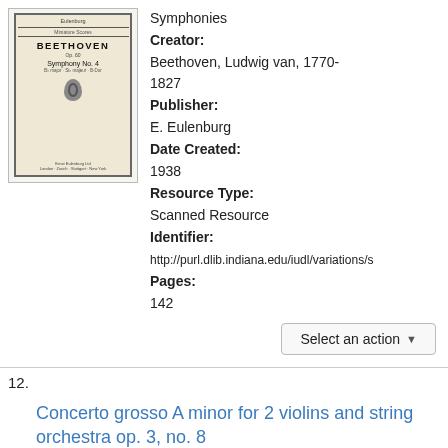[Figure (photo): Book cover of Beethoven Symphony No. 4 published by E. Eulenburg, showing title page with composer name BEETHOVEN in bold, series line, and publisher details at bottom]
Symphonies
Creator:
Beethoven, Ludwig van, 1770-1827
Publisher:
E. Eulenburg
Date Created:
1938
Resource Type:
Scanned Resource
Identifier:
http://purl.dlib.indiana.edu/iudl/variations/s
Pages:
142
Select an action ▾
12.
Concerto grosso A minor for 2 violins and string orchestra op. 3, no. 8
Subject: